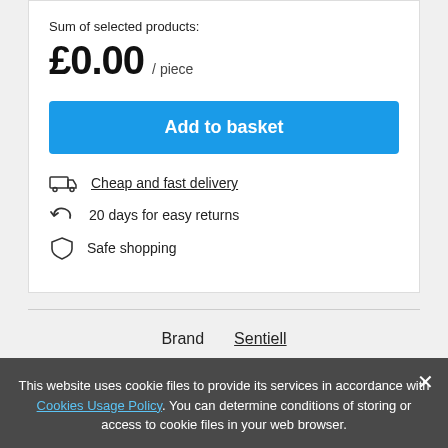Sum of selected products:
£0.00 / piece
Add to basket
Cheap and fast delivery
20 days for easy returns
Safe shopping
Brand    Sentiell
This website uses cookie files to provide its services in accordance with Cookies Usage Policy. You can determine conditions of storing or access to cookie files in your web browser.
Close
Plating